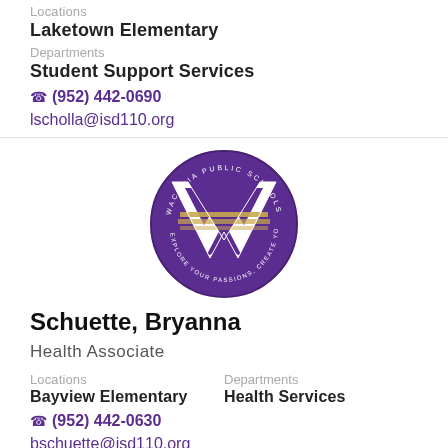Locations
Laketown Elementary
Departments
Student Support Services
(952) 442-0690
lscholla@isd110.org
[Figure (logo): Waconia Public Schools circular logo with large W letter in purple and gold]
Schuette, Bryanna
Health Associate
Locations
Departments
Bayview Elementary
Health Services
(952) 442-0630
bschuette@isd110.org